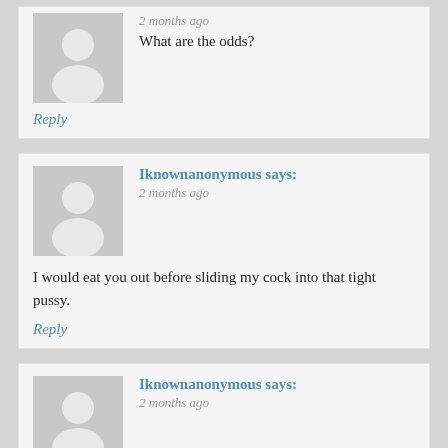2 months ago
What are the odds?
Reply
Iknownanonymous says:
2 months ago
I would eat you out before sliding my cock into that tight pussy.
Reply
Iknownanonymous says:
2 months ago
Thank you they have been asking about you for weeks.
Reply